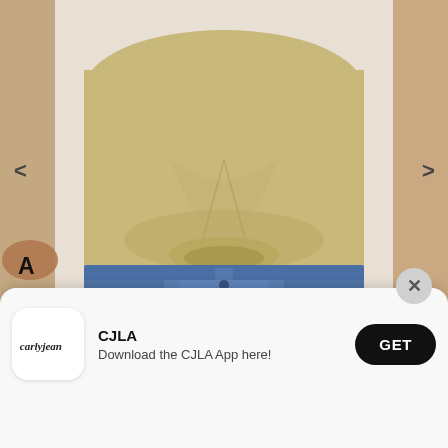[Figure (photo): A person wearing a light tan/khaki sleeveless top tucked into high-waist blue button-fly denim jeans. Only the torso is visible. Background is light gray.]
A
$
[Figure (screenshot): App download banner with close button (X), Carly Jean Los Angeles app icon (cursive 'carlyjean' logo on white), app name 'CJLA', subtitle 'Download the CJLA App here!', and a black GET button.]